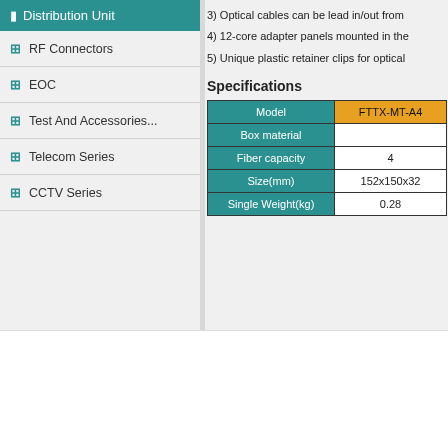Distribution Unit
RF Connectors
EOC
Test And Accessories...
Telecom Series
CCTV Series
3) Optical cables can be lead in/out from
4) 12-core adapter panels mounted in the
5) Unique plastic retainer clips for optical
Specifications
| Model | FTTX-MT-A4 |
| --- | --- |
| Box material |  |
| Fiber capacity | 4 |
| Size(mm) | 152x150x32 |
| Single Weight(kg) | 0.28 |
SOFTEL
Home   Pr
© 2014 Hang